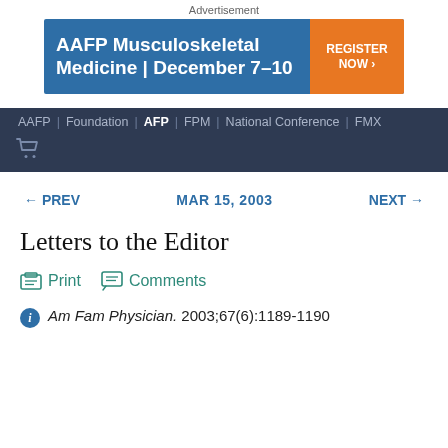Advertisement
[Figure (other): AAFP Musculoskeletal Medicine | December 7-10 banner ad with Register Now button]
AAFP | Foundation | AFP | FPM | National Conference | FMX
← PREV   MAR 15, 2003   NEXT →
Letters to the Editor
Print   Comments
Am Fam Physician. 2003;67(6):1189-1190